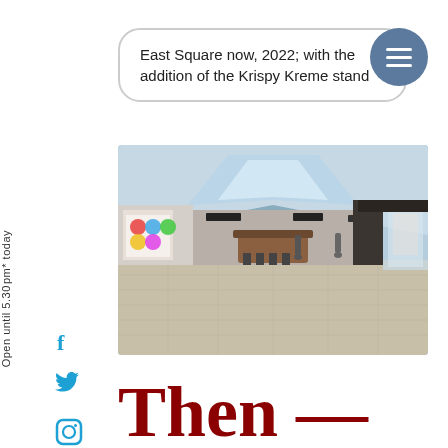East Square now, 2022; with the addition of the Krispy Kreme stand
[Figure (photo): Interior of East Square shopping mall in 2022 showing the Krispy Kreme stand, with tiled floors, store fronts, and a skylight ceiling]
Open until 5.30pm* today
Then —